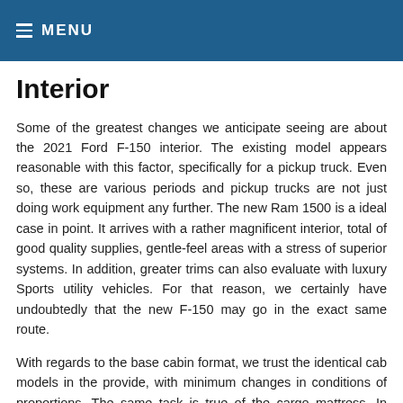≡ MENU
Interior
Some of the greatest changes we anticipate seeing are about the 2021 Ford F-150 interior. The existing model appears reasonable with this factor, specifically for a pickup truck. Even so, these are various periods and pickup trucks are not just doing work equipment any further. The new Ram 1500 is a ideal case in point. It arrives with a rather magnificent interior, total of good quality supplies, gentle-feel areas with a stress of superior systems. In addition, greater trims can also evaluate with luxury Sports utility vehicles. For that reason, we certainly have undoubtedly that the new F-150 may go in the exact same route.
With regards to the base cabin format, we trust the identical cab models in the provide, with minimum changes in conditions of proportions. The same task is true of the cargo mattress. In addition to an appealing dash panel, we count on from the new